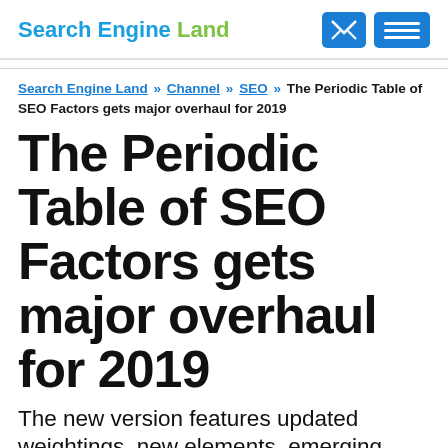Search Engine Land
Search Engine Land » Channel » SEO » The Periodic Table of SEO Factors gets major overhaul for 2019
The Periodic Table of SEO Factors gets major overhaul for 2019
The new version features updated weightings, new elements, emerging verticals and some nasty toxins to avoid at